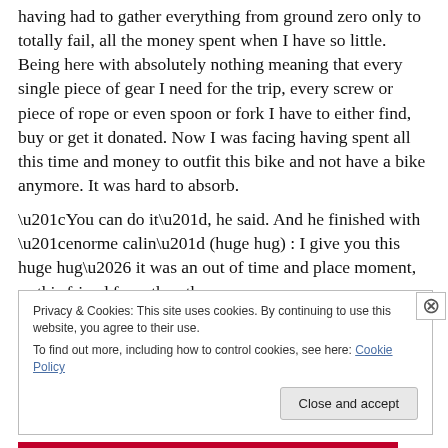having had to gather everything from ground zero only to totally fail, all the money spent when I have so little.  Being here with absolutely nothing meaning that every single piece of gear I need for the trip, every screw or piece of rope or even spoon or fork I have to either find, buy or get it donated. Now I was facing having spent all this time and money to outfit this bike and not have a bike anymore. It was hard to absorb.
“You can do it”, he said. And he finished with “enorme calin” (huge hug) : I give you this huge hug… it was an out of time and place moment, as this friend from the other
Privacy & Cookies: This site uses cookies. By continuing to use this website, you agree to their use.
To find out more, including how to control cookies, see here: Cookie Policy